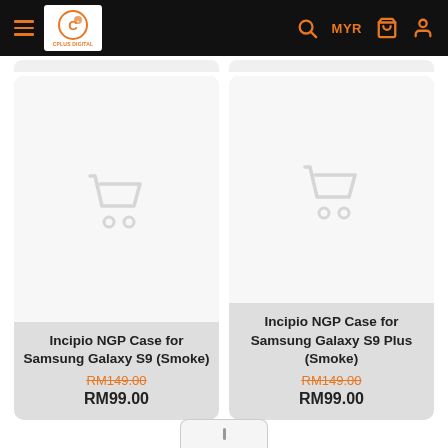C Plus Digital — MYR navigation header
[Figure (screenshot): Two product cards with placeholder shopping cart icons for Incipio NGP Case for Samsung Galaxy S9 (Smoke) and Incipio NGP Case for Samsung Galaxy S9 Plus (Smoke)]
Incipio NGP Case for Samsung Galaxy S9 (Smoke)
RM149.00
RM99.00
Incipio NGP Case for Samsung Galaxy S9 Plus (Smoke)
RM149.00
RM99.00